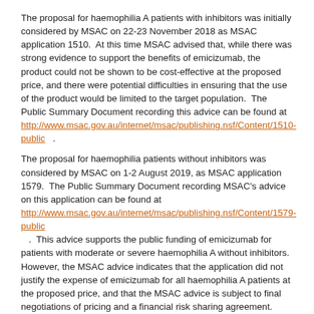The proposal for haemophilia A patients with inhibitors was initially considered by MSAC on 22-23 November 2018 as MSAC application 1510. At this time MSAC advised that, while there was strong evidence to support the benefits of emicizumab, the product could not be shown to be cost-effective at the proposed price, and there were potential difficulties in ensuring that the use of the product would be limited to the target population. The Public Summary Document recording this advice can be found at http://www.msac.gov.au/internet/msac/publishing.nsf/Content/1510-public .
The proposal for haemophilia patients without inhibitors was considered by MSAC on 1-2 August 2019, as MSAC application 1579. The Public Summary Document recording MSAC's advice on this application can be found at http://www.msac.gov.au/internet/msac/publishing.nsf/Content/1579-public . This advice supports the public funding of emicizumab for patients with moderate or severe haemophilia A without inhibitors. However, the MSAC advice indicates that the application did not justify the expense of emicizumab for all haemophilia A patients at the proposed price, and that the MSAC advice is subject to final negotiations of pricing and a financial risk sharing agreement.
At the same meeting, a revised proposal for haemophilia A patients with inhibitors was considered by MSAC, as MSAC application 1510.1. The Public Summary Document recording MSAC's advice on this application can be found at http://www.msac.gov.au/internet/msac/publishing.nsf/Content/1510.1-public . This advice supports the public funding of emicizumab for patients with haemophilia A with inhibitors. However, again, the MSAC advice indicates